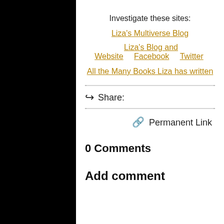Investigate these sites:
Liza's Multiverse Blog
Liza's Blog and Website   Facebook   Twitter
All the Many Books Liza has written
Share:
Permanent Link
0 Comments
Add comment